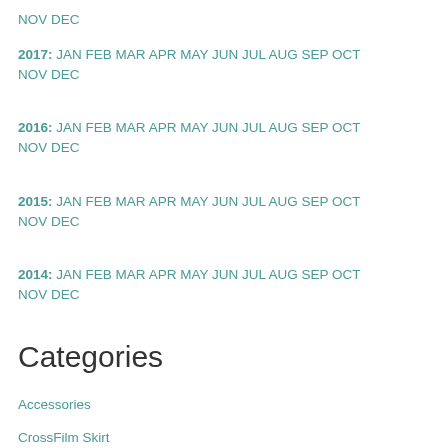NOV DEC
2017: JAN FEB MAR APR MAY JUN JUL AUG SEP OCT NOV DEC
2016: JAN FEB MAR APR MAY JUN JUL AUG SEP OCT NOV DEC
2015: JAN FEB MAR APR MAY JUN JUL AUG SEP OCT NOV DEC
2014: JAN FEB MAR APR MAY JUN JUL AUG SEP OCT NOV DEC
Categories
Accessories
CrossFilm Skirt